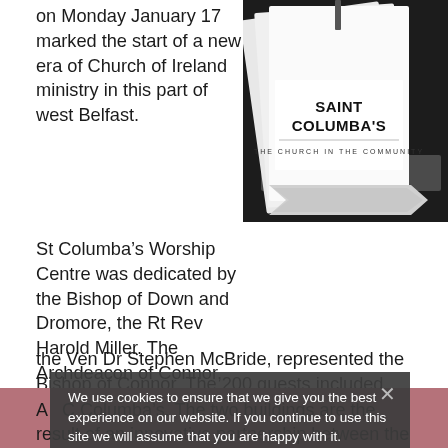on Monday January 17 marked the start of a new era of Church of Ireland ministry in this part of west Belfast.
[Figure (photo): Photo of Saint Columba's church booklet/leaflet showing 'SAINT COLUMBA'S - THE CHURCH IN THE COMMUNITY' text on a white document, photographed against dark background]
St Columba's Worship Centre was dedicated by the Bishop of Down and Dromore, the Rt Rev Harold Miller. The Archdeacon of Connor, the Ven Dr Stephen McBride, represented the Bishop of Connor. The 200 guests included those who had brought this forward-looking project to fruition and members of the community in whose midst the new church sits.
A  We use cookies to ensure that we give you the best experience on our website. If you continue to use this site we will assume that you are happy with it.   Ok   Privacy policy  C Columba's. The two buildings are the result of an innovative partnership between the Diocese of Connor, E&B Services, Prime Care and the parishioners of St Columba's Parish.